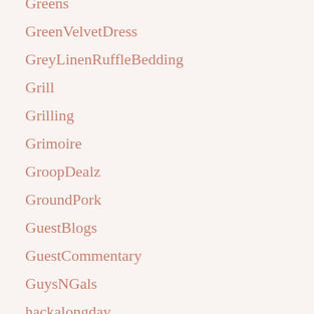Greens
GreenVelvetDress
GreyLinenRuffleBedding
Grill
Grilling
Grimoire
GroopDealz
GroundPork
GuestBlogs
GuestCommentary
GuysNGals
hackalongday
hackalongparty
hackalongvintage
HairCare